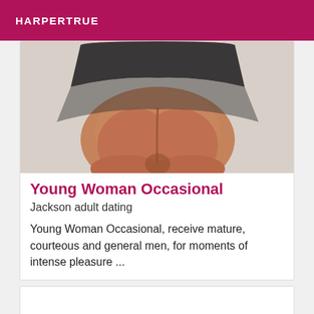HARPERTRUE
[Figure (photo): Photo showing the lower torso and thighs of a person from behind, wearing a black skirt or lingerie. The image is cropped.]
Young Woman Occasional
Jackson adult dating
Young Woman Occasional, receive mature, courteous and general men, for moments of intense pleasure ...